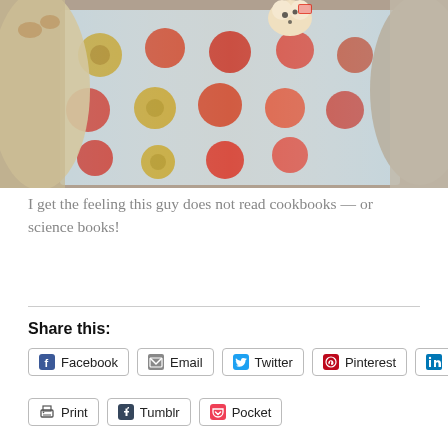[Figure (photo): A large block of ice with apples frozen inside it; a dog or animal sniffing the ice block, with paws visible on the left and a snout on the right; a small stuffed toy animal on top of the ice block.]
I get the feeling this guy does not read cookbooks — or science books!
Continue reading →
Share this:
Facebook
Email
Twitter
Pinterest
LinkedIn
Print
Tumblr
Pocket